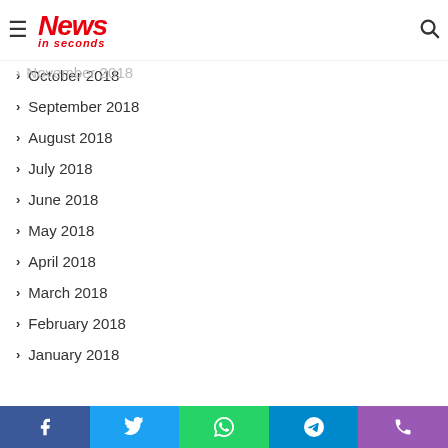News in seconds
November 2018
October 2018
September 2018
August 2018
July 2018
June 2018
May 2018
April 2018
March 2018
February 2018
January 2018